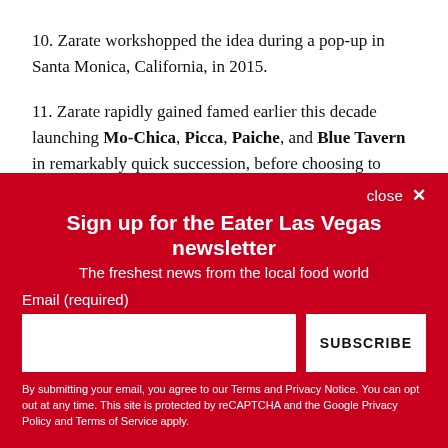10. Zarate workshopped the idea during a pop-up in Santa Monica, California, in 2015.
11. Zarate rapidly gained famed earlier this decade launching Mo-Chica, Picca, Paiche, and Blue Tavern in remarkably quick succession, before choosing to walk away from all his ventures, to “let it all go and start from scratch again.”
Sign up for the Eater Las Vegas newsletter
The freshest news from the local food world
Email (required)
SUBSCRIBE
By submitting your email, you agree to our Terms and Privacy Notice. You can opt out at any time. This site is protected by reCAPTCHA and the Google Privacy Policy and Terms of Service apply.